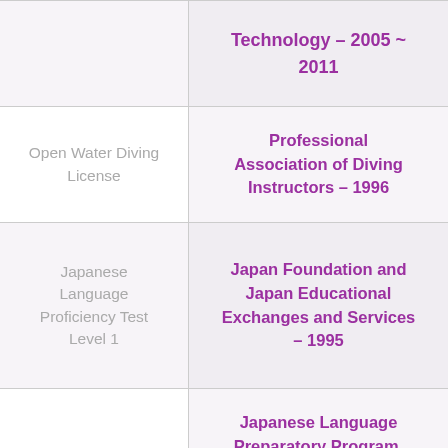| Certification/Award | Issuer/Details |
| --- | --- |
|  | Technology – 2005 ~ 2011 |
| Open Water Diving License | Professional Association of Diving Instructors – 1996 |
| Japanese Language Proficiency Test Level 1 | Japan Foundation and Japan Educational Exchanges and Services – 1995 |
| Best Science Student Award | Japanese Language Preparatory Program, University of Malaya – 1994. |
| Scholarship for |  |